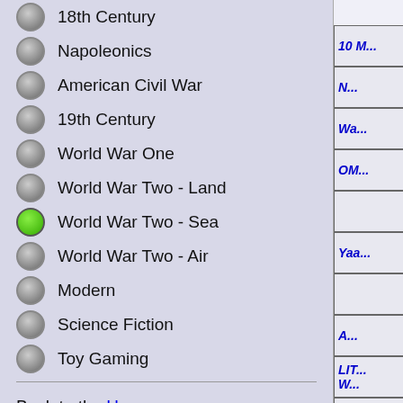18th Century
Napoleonics
American Civil War
19th Century
World War One
World War Two - Land
World War Two - Sea (selected)
World War Two - Air
Modern
Science Fiction
Toy Gaming
Back to the Homepage